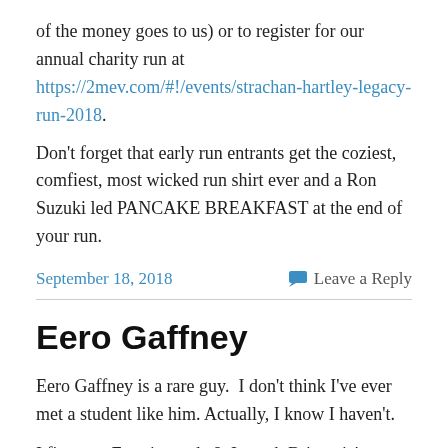of the money goes to us) or to register for our annual charity run at https://2mev.com/#!/events/strachan-hartley-legacy-run-2018.
Don't forget that early run entrants get the coziest, comfiest, most wicked run shirt ever and a Ron Suzuki led PANCAKE BREAKFAST at the end of your run.
September 18, 2018
Leave a Reply
Eero Gaffney
Eero Gaffney is a rare guy.  I don't think I've ever met a student like him. Actually, I know I haven't.
I first met Eero in grade 8. I coach Britannia's cross